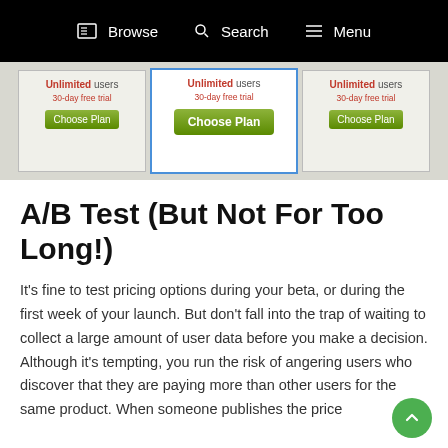Browse  Search  Menu
[Figure (screenshot): Pricing plan cards showing 'Unlimited users', '30-day free trial', and 'Choose Plan' buttons. Three columns, center one highlighted with blue border.]
A/B Test (But Not For Too Long!)
It's fine to test pricing options during your beta, or during the first week of your launch. But don't fall into the trap of waiting to collect a large amount of user data before you make a decision. Although it's tempting, you run the risk of angering users who discover that they are paying more than other users for the same product. When someone publishes the price